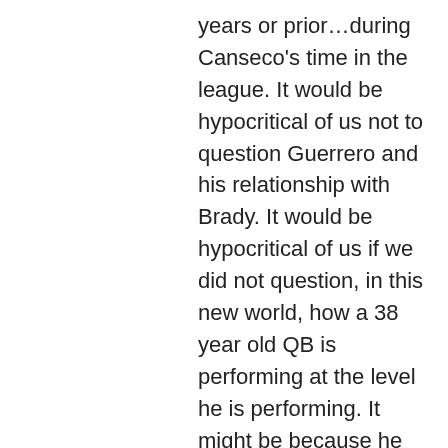years or prior…during Canseco's time in the league. It would be hypocritical of us not to question Guerrero and his relationship with Brady. It would be hypocritical of us if we did not question, in this new world, how a 38 year old QB is performing at the level he is performing. It might be because he eats avocado ice cream, does brain exercises and is blessed with 1 in a 10